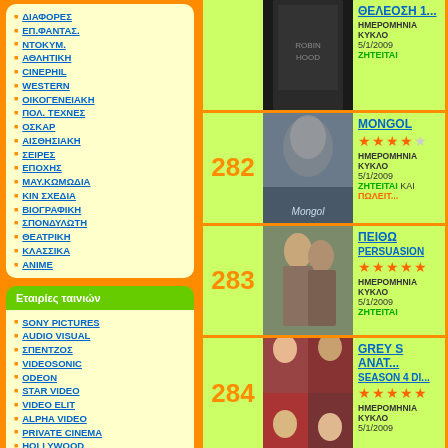ΔΙΑΦΟΡΕΣ
ΕΠ.ΦΑΝΤΑΣ.
ΝΤΟΚΥΜ.
ΑΘΛΗΤΙΚΗ
CINEPHIL
WESTERN
ΟΙΚΟΓΕΝΕΙΑΚΗ
ΠΟΛ. ΤΕΧΝΕΣ
ΟΣΚΑΡ
ΑΙΣΘΗΣΙΑΚΗ
ΣΕΙΡΕΣ
ΕΠΟΧΗΣ
ΜΑΥ.ΚΩΜΩΔΙΑ
ΚΙΝ ΣΧΕΔΙΑ
ΒΙΟΓΡΑΦΙΚΗ
ΣΠΟΝΔΥΛΩΤΗ
ΘΕΑΤΡΙΚΗ
ΚΛΑΣΣΙΚΑ
ANIME
Εταιρίες ταινιών
SONY PICTURES
AUDIO VISUAL
ΣΠΕΝΤΖΟΣ
VIDEOSONIC
ODEON
STAR VIDEO
VIDEO ELIT
ALPHA VIDEO
PRIVATE CINEMA
HOLLYWOOD
282 MONGOL - ΗΜΕΡΟΜΗΝΙΑ ΚΥΚΛΟ 5/1/2009 ΖΗΤΕΙΤΑΙ ΚΑΙ ΠΩΛΕΙΤ...
283 ΠΕΙΘΩ PERSUASION - ΗΜΕΡΟΜΗΝΙΑ ΚΥΚΛΟ 5/1/2009 ΖΗΤΕΙΤΑΙ
284 GREY S ANAT... SEASON 4 DI... - ΗΜΕΡΟΜΗΝΙΑ ΚΥΚΛΟ 5/1/2009